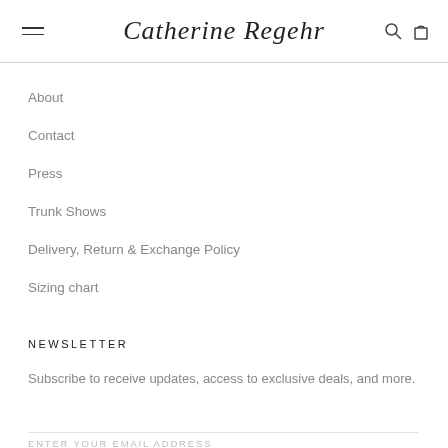Catherine Regehr
About
Contact
Press
Trunk Shows
Delivery, Return & Exchange Policy
Sizing chart
NEWSLETTER
Subscribe to receive updates, access to exclusive deals, and more.
ENTER YOUR EMAIL ADDRESS